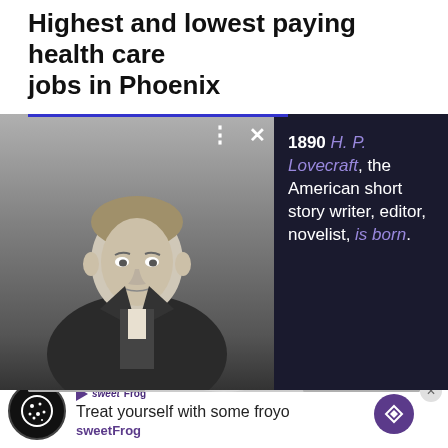Highest and lowest paying health care jobs in Phoenix
[Figure (photo): Black and white historical portrait photo of a man in 19th century formal attire with a bow tie, overlaid with a dark info panel showing '1890 H. P. Lovecraft, the American short story writer, editor, novelist, is born.' Controls (three dots and X button) are visible.]
triage, placing self-development at the top and security and physical health at the bottom. In setting up this pyramid, Maslow framed self-recognition and creative development as ultimate goals, while also prioritizing personal safety and strong physical health.
[Figure (photo): Partial view of another black and white historical photo at the bottom of the page (cropped).]
Treat yourself with some froyo
sweetFrog